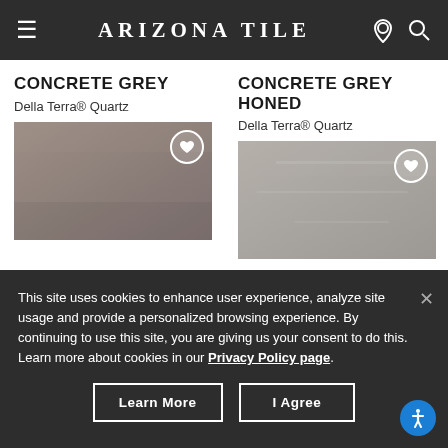ARIZONA TILE
CONCRETE GREY
Della Terra® Quartz
[Figure (photo): Concrete Grey quartz swatch showing a warm greige/taupe smooth surface with a white heart/favorite button in the top right]
CONCRETE GREY HONED
Della Terra® Quartz
[Figure (photo): Concrete Grey Honed quartz swatch showing a cooler grey honed surface with a white heart/favorite button in the top right]
This site uses cookies to enhance user experience, analyze site usage and provide a personalized browsing experience. By continuing to use this site, you are giving us your consent to do this. Learn more about cookies in our Privacy Policy page.